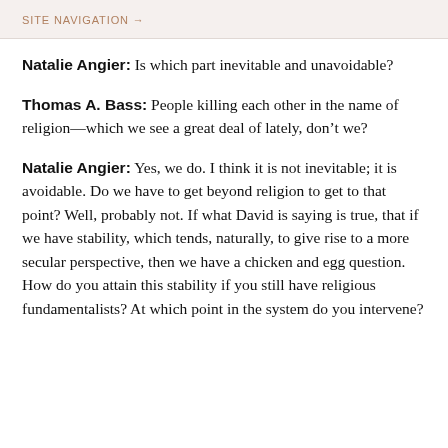SITE NAVIGATION →
Natalie Angier: Is which part inevitable and unavoidable?
Thomas A. Bass: People killing each other in the name of religion—which we see a great deal of lately, don't we?
Natalie Angier: Yes, we do. I think it is not inevitable; it is avoidable. Do we have to get beyond religion to get to that point? Well, probably not. If what David is saying is true, that if we have stability, which tends, naturally, to give rise to a more secular perspective, then we have a chicken and egg question. How do you attain this stability if you still have religious fundamentalists? At which point in the system do you intervene?